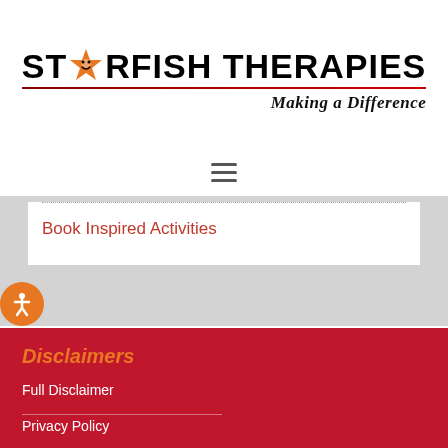[Figure (logo): Starfish Therapies logo with orange starfish star icon replacing the 'A' in STARFISH, black bold text reading 'STARFISH THERAPIES', red underline, and tagline 'Making a Difference' in italic bold below]
[Figure (other): Hamburger menu icon (three horizontal lines)]
Book Inspired Activities
[Figure (other): Orange circular accessibility icon with person symbol]
Disclaimers
Full Disclaimer
Privacy Policy